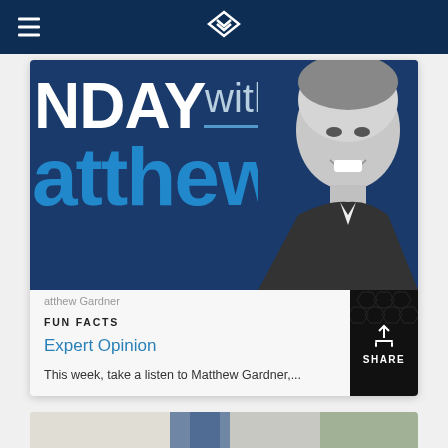Navigation bar with hamburger menu and logo
[Figure (screenshot): Banner image showing 'NDAY with Matthew Gardner' text overlay on dark blue background with a black and white portrait photo of a smiling middle-aged man on the right side]
atthew Gardner
FUN FACTS
Expert Opinion
This week, take a listen to Matthew Gardner,...
[Figure (photo): Partial view of a second card showing a person in jeans with a plant in the background]